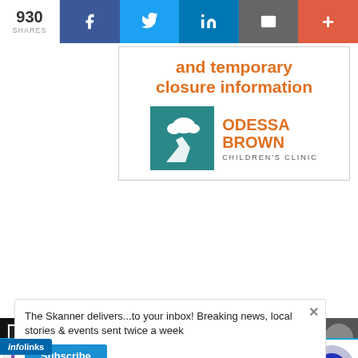930 SHARES | Facebook | Twitter | LinkedIn | Email | More
and temporary closure information
[Figure (logo): Odessa Brown Children's Clinic logo — teal square with cloud and hand silhouette, orange text 'Odessa Brown', grey text 'Children's Clinic']
The Skanner delivers...to your inbox! Breaking news, local stories & events sent twice a week
Subscribe
[Figure (other): infolinks badge]
Wayfair.com - Online Home Store Sale! Shop for A Zillion Things Home across all styles at Wayfair! www.wayfair.com
Abogada VALENTINA ORDNSAYE — OMOSEDE VALENTINA ASISTENTE LEGAL — LLÁMENOS AL: 713-334-7200